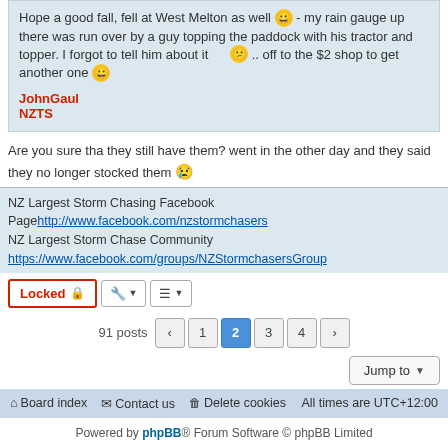Hope a good fall, fell at West Melton as well 😀 - my rain gauge up there was run over by a guy topping the paddock with his tractor and topper. I forgot to tell him about it 😕 .. off to the $2 shop to get another one 😀
JohnGaul
NZTS
Are you sure tha they still have them? went in the other day and they said they no longer stocked them 😢
NZ Largest Storm Chasing Facebook Page http://www.facebook.com/nzstormchasers
NZ Largest Storm Chase Community
https://www.facebook.com/groups/NZStormchasersGroup
Locked | tools | sort | 91 posts | 1 2 3 4 | Jump to
Board index  Contact us  Delete cookies  All times are UTC+12:00
Powered by phpBB® Forum Software © phpBB Limited